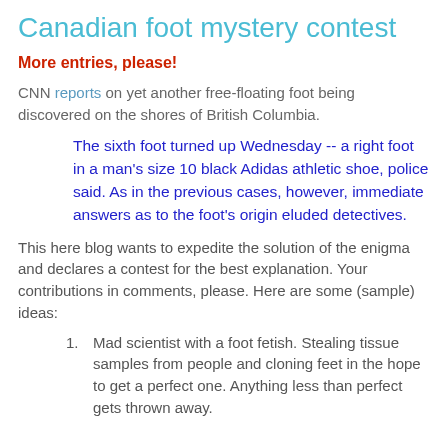Canadian foot mystery contest
More entries, please!
CNN reports on yet another free-floating foot being discovered on the shores of British Columbia.
The sixth foot turned up Wednesday -- a right foot in a man's size 10 black Adidas athletic shoe, police said. As in the previous cases, however, immediate answers as to the foot's origin eluded detectives.
This here blog wants to expedite the solution of the enigma and declares a contest for the best explanation. Your contributions in comments, please. Here are some (sample) ideas:
Mad scientist with a foot fetish. Stealing tissue samples from people and cloning feet in the hope to get a perfect one. Anything less than perfect gets thrown away.